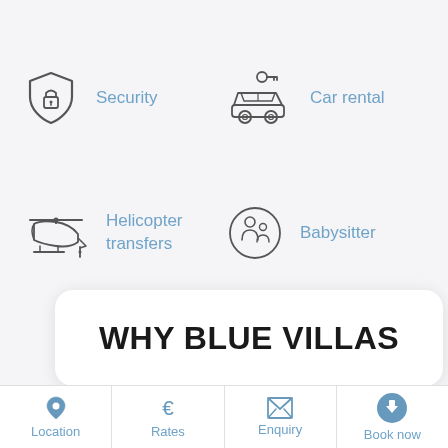[Figure (infographic): Security icon - shield with padlock, labeled 'Security' in blue]
[Figure (infographic): Car rental icon - car with key on top, labeled 'Car rental' in blue]
[Figure (infographic): Helicopter icon, labeled 'Helicopter transfers' in blue]
[Figure (infographic): Babysitter icon - person with child in circle, labeled 'Babysitter' in blue]
WHY BLUE VILLAS
Location
Rates
Enquiry
Book now